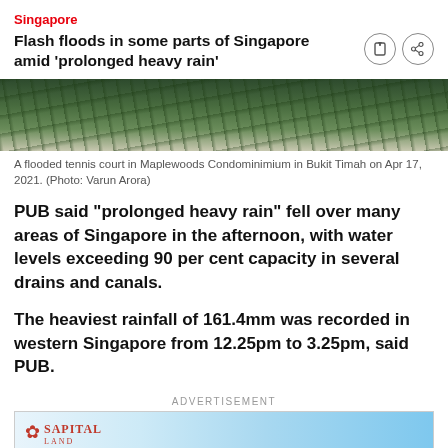Singapore
Flash floods in some parts of Singapore amid 'prolonged heavy rain'
[Figure (photo): A flooded tennis court in Maplewoods Condominimium in Bukit Timah, showing green trees and vegetation]
A flooded tennis court in Maplewoods Condominimium in Bukit Timah on Apr 17, 2021. (Photo: Varun Arora)
PUB said "prolonged heavy rain" fell over many areas of Singapore in the afternoon, with water levels exceeding 90 per cent capacity in several drains and canals.
The heaviest rainfall of 161.4mm was recorded in western Singapore from 12.25pm to 3.25pm, said PUB.
ADVERTISEMENT